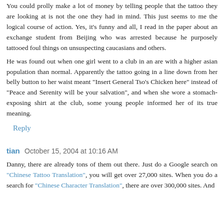You could prolly make a lot of money by telling people that the tattoo they are looking at is not the one they had in mind. This just seems to me the logical course of action. Yes, it's funny and all, I read in the paper about an exchange student from Beijing who was arrested because he purposely tattooed foul things on unsuspecting caucasians and others.
He was found out when one girl went to a club in an are with a higher asian population than normal. Apparently the tattoo going in a line down from her belly button to her waist meant "Insert General Tso's Chicken here" instead of "Peace and Serenity will be your salvation", and when she wore a stomach-exposing shirt at the club, some young people informed her of its true meaning.
Reply
tian October 15, 2004 at 10:16 AM
Danny, there are already tons of them out there. Just do a Google search on "Chinese Tattoo Translation", you will get over 27,000 sites. When you do a search for "Chinese Character Translation", there are over 300,000 sites. And